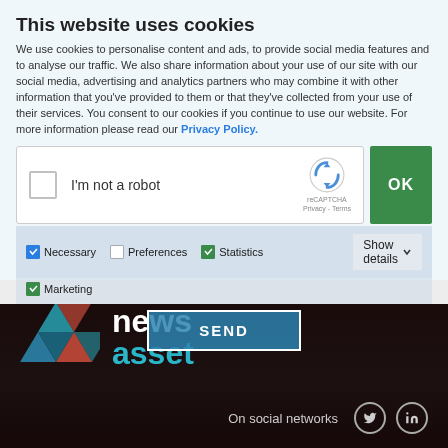This website uses cookies
We use cookies to personalise content and ads, to provide social media features and to analyse our traffic. We also share information about your use of our site with our social media, advertising and analytics partners who may combine it with other information that you've provided to them or that they've collected from your use of their services. You consent to our cookies if you continue to use our website. For more information please read our Privacy Policy.
[Figure (screenshot): reCAPTCHA widget with 'I'm not a robot' checkbox and Google reCAPTCHA logo]
[Figure (infographic): Cookie consent checkboxes: Necessary (checked blue), Preferences (unchecked), Statistics (checked green), Marketing (checked green), with Show details dropdown]
[Figure (infographic): SEND button with white border]
[Figure (logo): NewsAsset logo with geometric triangles icon in blue, teal, and red, with 'news asset' text]
On social networks